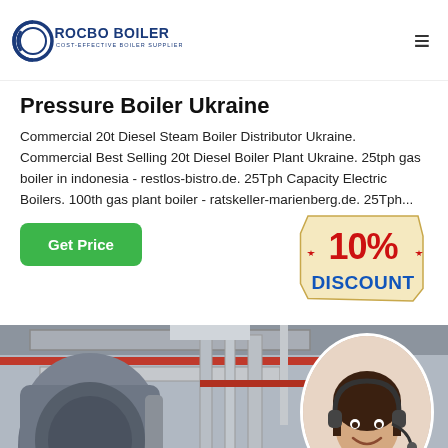ROCBO BOILER — COST-EFFECTIVE BOILER SUPPLIER
Pressure Boiler Ukraine
Commercial 20t Diesel Steam Boiler Distributor Ukraine. Commercial Best Selling 20t Diesel Boiler Plant Ukraine. 25tph gas boiler in indonesia - restlos-bistro.de. 25Tph Capacity Electric Boilers. 100th gas plant boiler - ratskeller-marienberg.de. 25Tph...
[Figure (other): Green 'Get Price' button]
[Figure (other): 10% Discount badge sticker — red and blue text on cream/yellow background]
[Figure (photo): Industrial boiler room with large cylindrical equipment, metal pipes (silver and red), overhead ductwork, and a customer service representative in a circular inset on the right side wearing a headset and smiling]